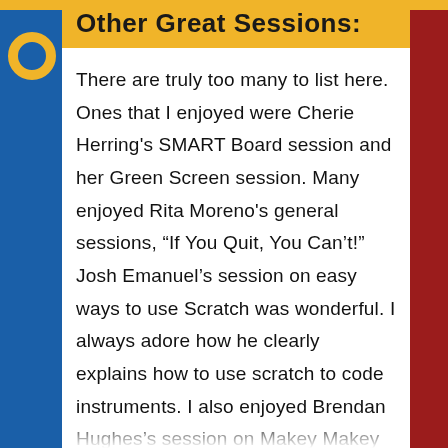Other Great Sessions:
There are truly too many to list here. Ones that I enjoyed were Cherie Herring's SMART Board session and her Green Screen session. Many enjoyed Rita Moreno's general sessions, “If You Quit, You Can’t!” Josh Emanuel’s session on easy ways to use Scratch was wonderful. I always adore how he clearly explains how to use scratch to code instruments. I also enjoyed Brendan Hughes’s session on Makey Makey and how to use it in the music classroom. I loved the example of the students attaching Makey Makey devices to welcome mats at school